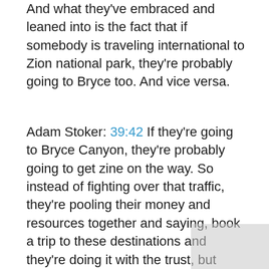And what they've embraced and leaned into is the fact that if somebody is traveling international to Zion national park, they're probably going to Bryce too. And vice versa.
Adam Stoker: 39:42 If they're going to Bryce Canyon, they're probably going to get zine on the way. So instead of fighting over that traffic, they're pooling their money and resources together and saying, book a trip to these destinations and they're doing it with the trust, but each of them is going to collect revenue from that campaign. I think it's been incredibly successful for them. Another example of this is just, I talked about the coloring book campaign. We did a, it was kind of a bridge campaign when grow the virus initially hit all these destinations. When, when we got together with him and talked to him about these coloring books, presented them, they said, why don't we do a, an awesome, uh, a joint campaign with this? And it's been more of a PR campaign, uh, centered